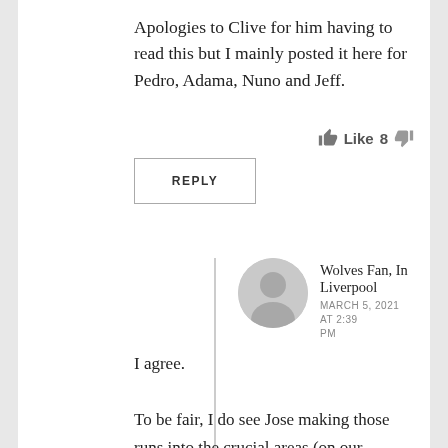Apologies to Clive for him having to read this but I mainly posted it here for Pedro, Adama, Nuno and Jeff.
Like 8
REPLY
Wolves Fan, In Liverpool
MARCH 5, 2021 AT 2:39 PM
I agree.
To be fair, I do see Jose making those runs into the crucial areas (on our attacks) sometimes and then the ball isn't played quick enough. So the next time he holds off and is out of position.